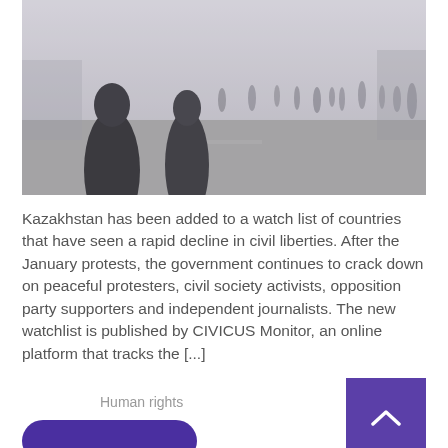[Figure (photo): Protesters or security forces standing in a foggy/smoky street scene, figures silhouetted against hazy background]
Kazakhstan has been added to a watch list of countries that have seen a rapid decline in civil liberties. After the January protests, the government continues to crack down on peaceful protesters, civil society activists, opposition party supporters and independent journalists. The new watchlist is published by CIVICUS Monitor, an online platform that tracks the [...]
Human rights